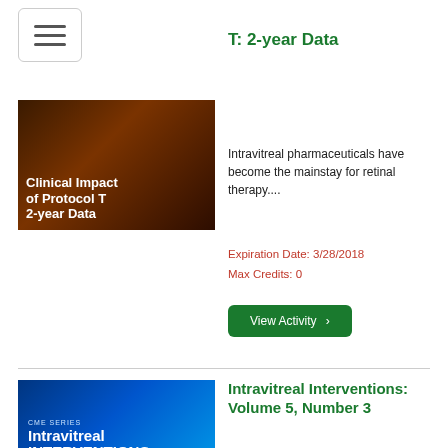[Figure (screenshot): Hamburger menu button icon]
[Figure (photo): Clinical Impact of Protocol T 2-year Data course thumbnail - dark reddish background with text]
T: 2-year Data
Intravitreal pharmaceuticals have become the mainstay for retinal therapy....
Expiration Date: 3/28/2018
Max Credits: 0
View Activity ›
[Figure (photo): Intravitreal Interventions Volume 5 Number 3 CME Series thumbnail - blue background]
Intravitreal Interventions: Volume 5, Number 3
Intravitreal pharmaceuticals have become the mainstay for retinal therapy....
Expiration Date: 9/29/2017
Max Credits: 0